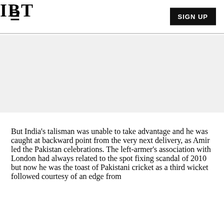IBT
[Figure (other): Advertisement banner placeholder, grey background]
But India's talisman was unable to take advantage and he was caught at backward point from the very next delivery, as Amir led the Pakistan celebrations. The left-armer's association with London had always related to the spot fixing scandal of 2010 but now he was the toast of Pakistani cricket as a third wicket followed courtesy of an edge from